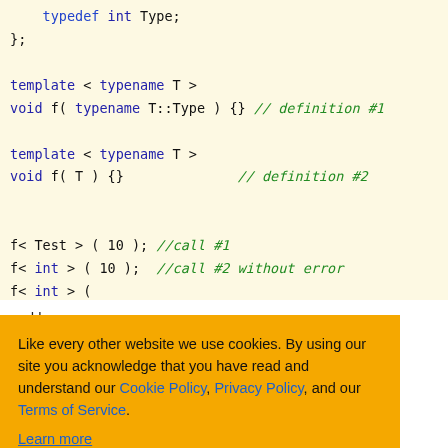[Figure (screenshot): C++ code snippet on a pale yellow background showing typedef, template, and function definitions with green italic comments (// definition #1, // definition #2, //call #1, //call #2 without error), and partial fourth line cut off.]
...d have ...tion of the ...f the ...l is: void f( ...ks to SFINAE, ...sn't generate ...ction that matches the call.
Like every other website we use cookies. By using our site you acknowledge that you have read and understand our Cookie Policy, Privacy Policy, and our Terms of Service.
Learn more
[Ask me later] [Decline] [Allow cookies]